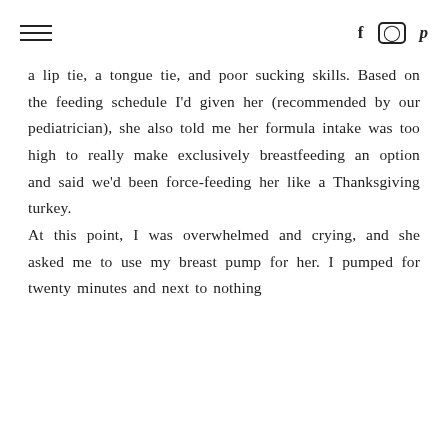≡  f  ⊙  p
a lip tie, a tongue tie, and poor sucking skills. Based on the feeding schedule I'd given her (recommended by our pediatrician), she also told me her formula intake was too high to really make exclusively breastfeeding an option and said we'd been force-feeding her like a Thanksgiving turkey.
At this point, I was overwhelmed and crying, and she asked me to use my breast pump for her. I pumped for twenty minutes and next to nothing